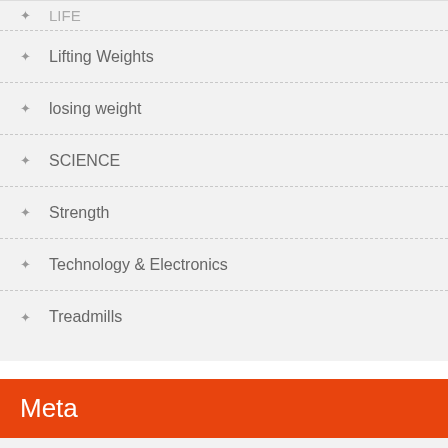Lifting Weights
losing weight
SCIENCE
Strength
Technology & Electronics
Treadmills
Meta
Log in
Entries feed